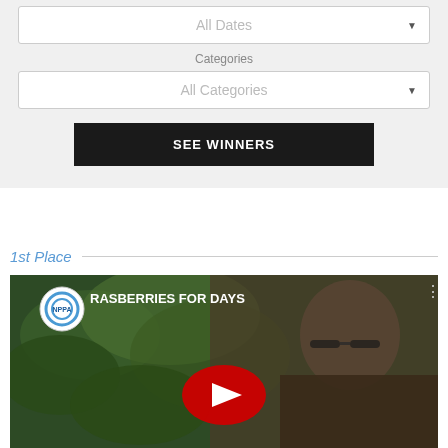[Figure (screenshot): Dropdown filter showing 'All Dates' with down arrow]
Categories
[Figure (screenshot): Dropdown filter showing 'All Categories' with down arrow]
[Figure (screenshot): Black button labeled 'SEE WINNERS']
1st Place
[Figure (screenshot): YouTube video thumbnail for 'RASBERRIES FOR DAYS' with NPPA logo, showing a man with sunglasses and grey beard outdoors, with red YouTube play button overlay]